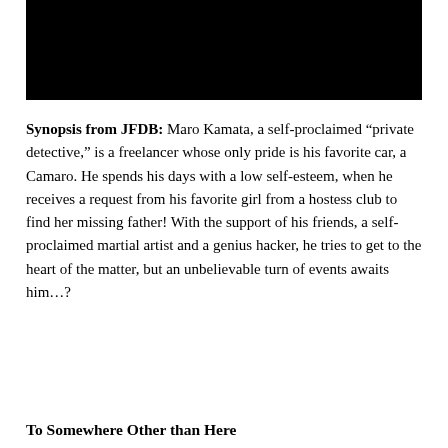[Figure (photo): Black rectangular image at the top of the page]
Synopsis from JFDB: Maro Kamata, a self-proclaimed “private detective,” is a freelancer whose only pride is his favorite car, a Camaro. He spends his days with a low self-esteem, when he receives a request from his favorite girl from a hostess club to find her missing father! With the support of his friends, a self-proclaimed martial artist and a genius hacker, he tries to get to the heart of the matter, but an unbelievable turn of events awaits him…?
To Somewhere Other than Here